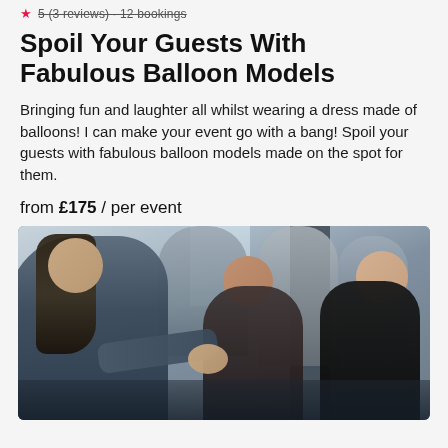5 (3 reviews) · 12 bookings
Spoil Your Guests With Fabulous Balloon Models
Bringing fun and laughter all whilst wearing a dress made of balloons! I can make your event go with a bang! Spoil your guests with fabulous balloon models made on the spot for them.
from £175 / per event
[Figure (photo): A balloon artist making balloon models for a group of young people at an event, indoors. The performer with long hair leans toward a group of children and teenagers who watch with interest.]